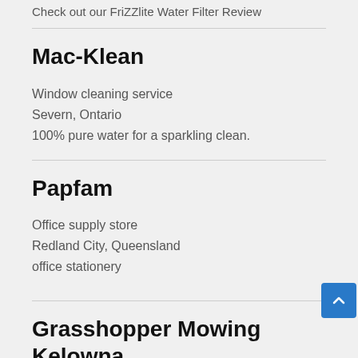Check out our FriZZlite Water Filter Review
Mac-Klean
Window cleaning service
Severn, Ontario
100% pure water for a sparkling clean.
Papfam
Office supply store
Redland City, Queensland
office stationery
Grasshopper Mowing Kelowna